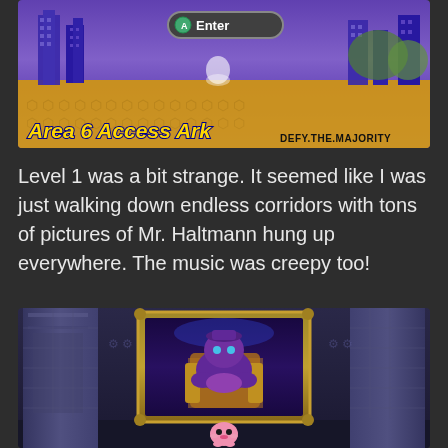[Figure (screenshot): Kirby game screenshot showing Area 6 Access Ark level select screen with 'Enter' button prompt. Purple city skyline on yellow background. Watermark reads DEFY.THE.MAJORITY.]
Level 1 was a bit strange. It seemed like I was just walking down endless corridors with tons of pictures of Mr. Haltmann hung up everywhere. The music was creepy too!
[Figure (screenshot): Kirby Planet Robobot screenshot showing Kirby (small pink character at bottom) facing a boss portrait of President Haltmann seated on a throne inside an ornate frame, in a dark corridor level.]